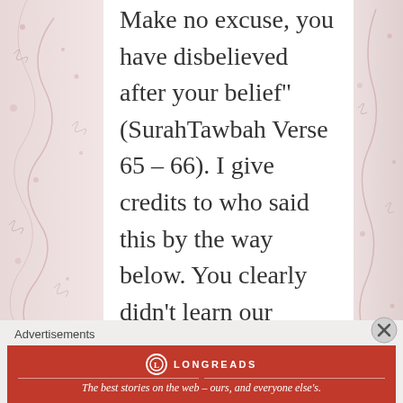Make no excuse, you have disbelieved after your belief'' (SurahTawbah Verse 65 – 66). I give credits to who said this by the way below. You clearly didn't learn our religion and the guide of humankind correctly. I hope you
[Figure (illustration): Decorative floral border panels on left and right sides with pink flowers and swirling vine patterns on a light pinkish-grey background]
Advertisements
[Figure (logo): Longreads advertisement banner in red: circular logo with L, brand name LONGREADS, and tagline 'The best stories on the web – ours, and everyone else's.']